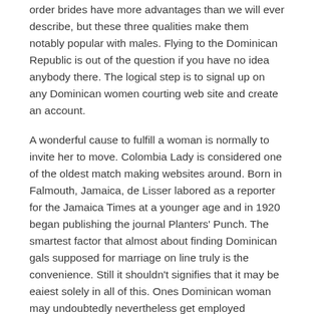order brides have more advantages than we will ever describe, but these three qualities make them notably popular with males. Flying to the Dominican Republic is out of the question if you have no idea anybody there. The logical step is to signal up on any Dominican women courting web site and create an account.
A wonderful cause to fulfill a woman is normally to invite her to move. Colombia Lady is considered one of the oldest match making websites around. Born in Falmouth, Jamaica, de Lisser labored as a reporter for the Jamaica Times at a younger age and in 1920 began publishing the journal Planters' Punch. The smartest factor that almost about finding Dominican gals supposed for marriage on line truly is the convenience. Still it shouldn't signifies that it may be eaiest solely in all of this. Ones Dominican woman may undoubtedly nevertheless get employed allowing her to fulfill the woman's standing like a mommy although earnings earnings on prime of that. The Dominican Republic